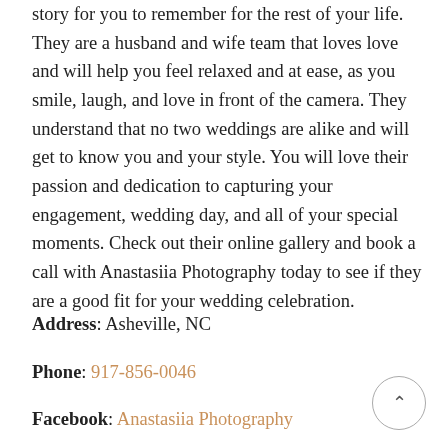story for you to remember for the rest of your life. They are a husband and wife team that loves love and will help you feel relaxed and at ease, as you smile, laugh, and love in front of the camera. They understand that no two weddings are alike and will get to know you and your style. You will love their passion and dedication to capturing your engagement, wedding day, and all of your special moments. Check out their online gallery and book a call with Anastasiia Photography today to see if they are a good fit for your wedding celebration.
Address: Asheville, NC
Phone: 917-856-0046
Facebook: Anastasiia Photography